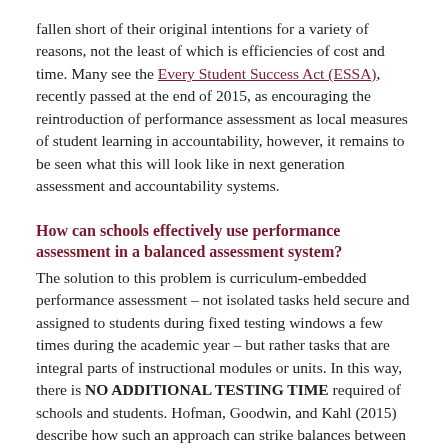fallen short of their original intentions for a variety of reasons, not the least of which is efficiencies of cost and time. Many see the Every Student Success Act (ESSA), recently passed at the end of 2015, as encouraging the reintroduction of performance assessment as local measures of student learning in accountability, however, it remains to be seen what this will look like in next generation assessment and accountability systems.
How can schools effectively use performance assessment in a balanced assessment system?
The solution to this problem is curriculum-embedded performance assessment – not isolated tasks held secure and assigned to students during fixed testing windows a few times during the academic year – but rather tasks that are integral parts of instructional modules or units. In this way, there is NO ADDITIONAL TESTING TIME required of schools and students. Hofman, Goodwin, and Kahl (2015) describe how such an approach can strike balances between formative and summative assessment, between attention to foundational knowledge/skills and to deeper learning, and between local and state components of a state's accountability assessment